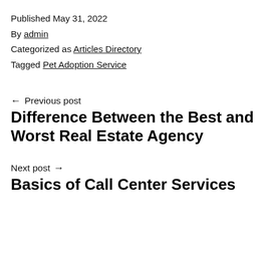Published May 31, 2022
By admin
Categorized as Articles Directory
Tagged Pet Adoption Service
← Previous post
Difference Between the Best and Worst Real Estate Agency
Next post →
Basics of Call Center Services